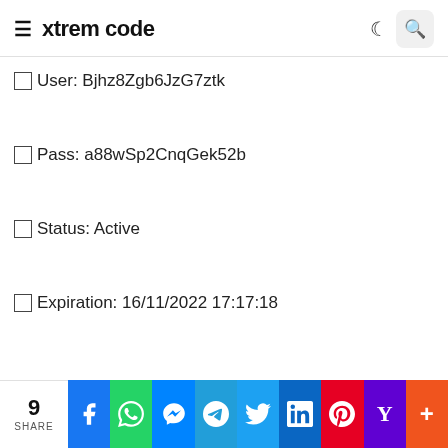xtrem code
🗹User: Bjhz8Zgb6JzG7ztk
🗹Pass: a88wSp2CnqGek52b
🗹Status: Active
🗹Expiration: 16/11/2022 17:17:18
9 SHARE | Facebook | WhatsApp | Messenger | Telegram | Twitter | LinkedIn | Pinterest | Yahoo | More